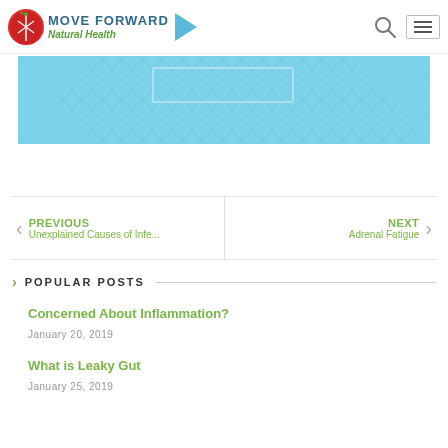Move Forward Natural Health
[Figure (illustration): Blue crosshatched/textured banner image with a rectangular outline in the center]
< PREVIOUS
Unexplained Causes of Infe...
NEXT >
Adrenal Fatigue
POPULAR POSTS
Concerned About Inflammation?
January 20, 2019
What is Leaky Gut
January 25, 2019